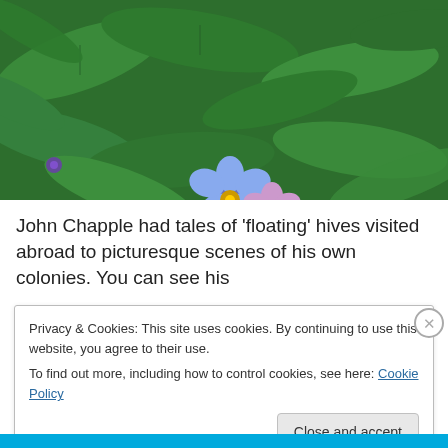[Figure (photo): Close-up photograph of blue and pink forget-me-not flowers with green leaves background]
John Chapple had tales of ‘floating’ hives visited abroad to picturesque scenes of his own colonies. You can see his
Privacy & Cookies: This site uses cookies. By continuing to use this website, you agree to their use.
To find out more, including how to control cookies, see here: Cookie Policy
Close and accept